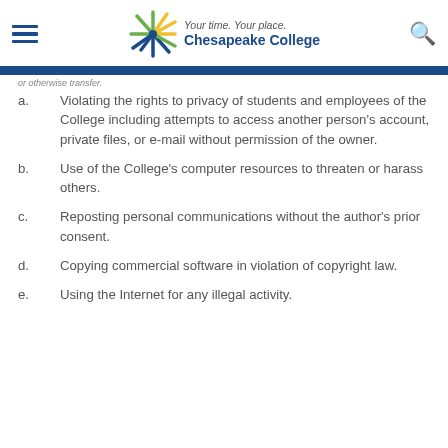Your time. Your place. Chesapeake College
or otherwise transfer.
a.   Violating the rights to privacy of students and employees of the College including attempts to access another person's account, private files, or e-mail without permission of the owner.
b.   Use of the College's computer resources to threaten or harass others.
c.   Reposting personal communications without the author's prior consent.
d.   Copying commercial software in violation of copyright law.
e.   Using the Internet for any illegal activity.